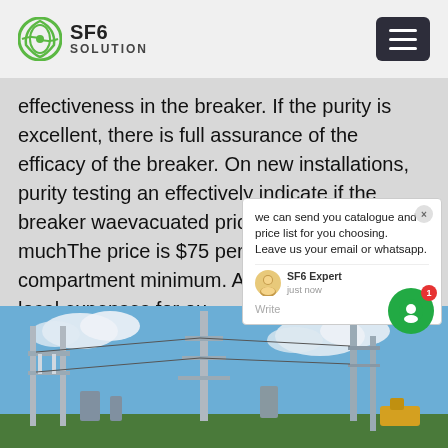SF6 SOLUTION
effectiveness in the breaker. If the purity is excellent, there is full assurance of the efficacy of the breaker. On new installations, purity testing an effectively indicate if the breaker wa evacuated prior to filling. How much The price is $75 per compartment w compartment minimum. Additional c travel and local expenses for ou
[Figure (screenshot): Chat popup overlay showing: 'we can send you catalogue and price list for you choosing. Leave us your email or whatsapp.' with SF6 Expert agent and just now timestamp, Write input with like and attachment icons]
[Figure (photo): Outdoor electrical substation with large grey transmission towers, insulators, and high-voltage equipment against a blue sky with white clouds]